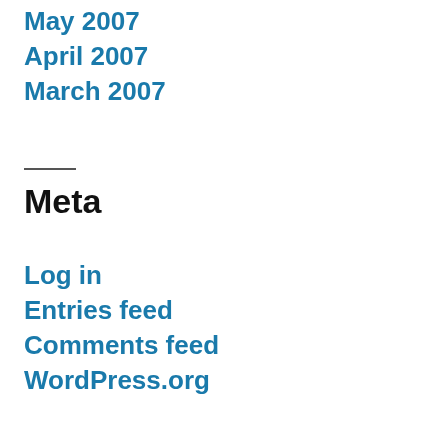May 2007
April 2007
March 2007
Meta
Log in
Entries feed
Comments feed
WordPress.org